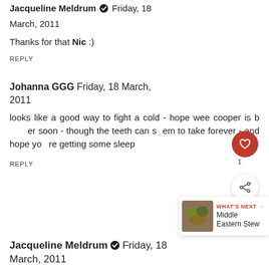Jacqueline Meldrum • Friday, 18 March, 2011
Thanks for that Nic :)
REPLY
Johanna GGG Friday, 18 March, 2011
looks like a good way to fight a cold - hope wee cooper is better soon - though the teeth can seem to take forever - and hope you're getting some sleep
REPLY
WHAT'S NEXT → Middle Eastern Stew
Jacqueline Meldrum • Friday, 18 March, 2011